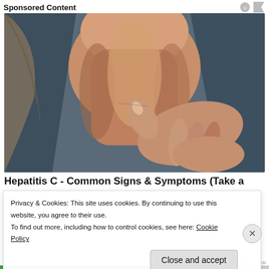Sponsored Content
[Figure (photo): Close-up photo of a person touching/feeling their neck/throat area with their hand, wearing a dark blue top. The image shows the person's neck and chin area with fingers pressing on the throat, suggesting thyroid or throat examination.]
Hepatitis C - Common Signs & Symptoms (Take a
Privacy & Cookies: This site uses cookies. By continuing to use this website, you agree to their use.
To find out more, including how to control cookies, see here: Cookie Policy
Close and accept